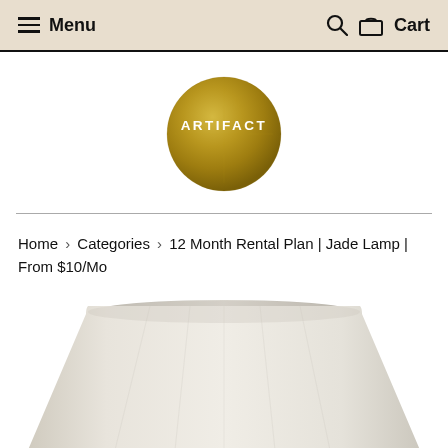≡ Menu  🔍 🛒 Cart
[Figure (logo): Circular gold/brass brushed metal logo badge with white text reading ARTIFACT]
Home › Categories › 12 Month Rental Plan | Jade Lamp | From $10/Mo
[Figure (photo): Partial photo of a lamp shade — light beige/cream colored cylindrical lamp shade, slightly tapered, shown from the top down, cut off at bottom of page]